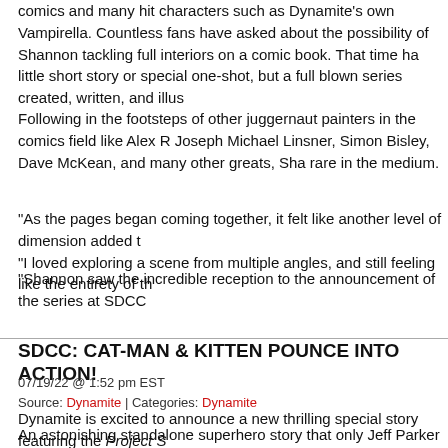comics and many hit characters such as Dynamite's own Vampirella. Countless fans have asked about the possibility of Shannon tackling full interiors on a comic book. That time has come! Not a little short story or special one-shot, but a full blown series created, written, and illus
Following in the footsteps of other juggernaut painters in the comics field like Alex R Joseph Michael Linsner, Simon Bisley, Dave McKean, and many other greats, Sha rare in the medium.
"As the pages began coming together, it felt like another level of dimension added t "I loved exploring a scene from multiple angles, and still feeling like the entirety of th
"Shannon saw the incredible reception to the announcement of the series at SDCC
SDCC: CAT-MAN & KITTEN POUNCE INTO ACTION!
07/19/22 @ 1:52 pm EST
Source: Dynamite | Categories: Dynamite
Dynamite is excited to announce a new thrilling special story featuring the Project S Aquaman) with art by the incredible Joseph Cooper (Ninjettes). This sensational ne this year.
An astonishing standalone superhero story that only Jeff Parker could create! Witne